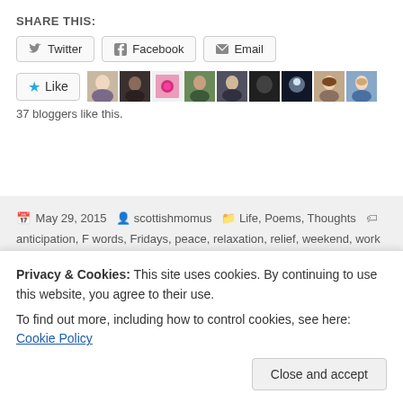SHARE THIS:
Twitter | Facebook | Email (share buttons)
[Figure (other): Like button with star icon and a strip of 9 blogger avatar thumbnails]
37 bloggers like this.
May 29, 2015  scottishmomus  Life, Poems, Thoughts  anticipation, F words, Fridays, peace, relaxation, relief, weekend, work  4 Comments
Welcome, Twilight Friend
Privacy & Cookies: This site uses cookies. By continuing to use this website, you agree to their use.
To find out more, including how to control cookies, see here: Cookie Policy
Close and accept